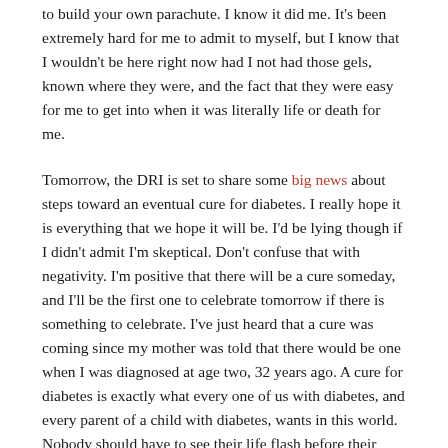to build your own parachute. I know it did me. It's been extremely hard for me to admit to myself, but I know that I wouldn't be here right now had I not had those gels, known where they were, and the fact that they were easy for me to get into when it was literally life or death for me.
Tomorrow, the DRI is set to share some big news about steps toward an eventual cure for diabetes. I really hope it is everything that we hope it will be. I'd be lying though if I didn't admit I'm skeptical. Don't confuse that with negativity. I'm positive that there will be a cure someday, and I'll be the first one to celebrate tomorrow if there is something to celebrate. I've just heard that a cure was coming since my mother was told that there would be one when I was diagnosed at age two, 32 years ago. A cure for diabetes is exactly what every one of us with diabetes, and every parent of a child with diabetes, wants in this world. Nobody should have to see their life flash before their eyes on their birthday because of a low blood sugar like I had to. However, hoping and praying and wishing doesn't get us closer to that day.
I've learned to keep myself grounded in reality. Maybe that's a